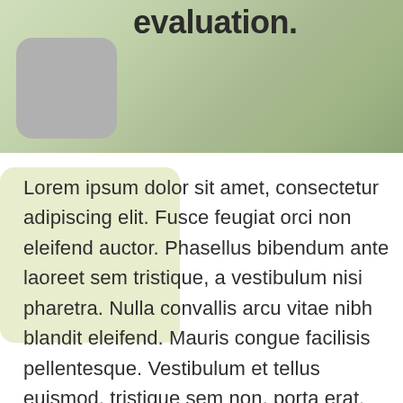evaluation.
[Figure (photo): Gray rounded rectangle placeholder image on top of a green/nature background photo]
Lorem ipsum dolor sit amet, consectetur adipiscing elit. Fusce feugiat orci non eleifend auctor. Phasellus bibendum ante laoreet sem tristique, a vestibulum nisi pharetra. Nulla convallis arcu vitae nibh blandit eleifend. Mauris congue facilisis pellentesque. Vestibulum et tellus euismod, tristique sem non, porta erat. Nunc aliquam diam euismod, vestibulum orci at, blandit urna. Fusce et orci at leo placerat luctus id eu nulla. Curabitur metus leo, porta non